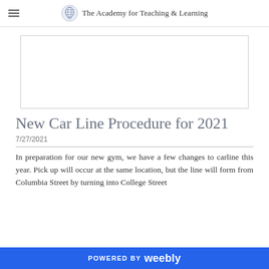The Academy for Teaching & Learning
[Figure (other): Blank white rectangular image placeholder with light gray border]
New Car Line Procedure for 2021
7/27/2021
In preparation for our new gym, we have a few changes to carline this year. Pick up will occur at the same location, but the line will form from Columbia Street by turning into College Street
POWERED BY weebly